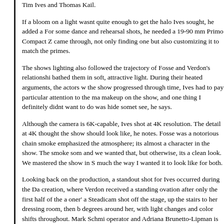Tim Ives and Thomas Kail.
If a bloom on a light wasnt quite enough to get the halo Ives sought, he added a For some dance and rehearsal shots, he needed a 19-90 mm Primo Compact Z came through, not only finding one but also customizing it to match the primes.
The shows lighting also followed the trajectory of Fosse and Verdon's relationshi bathed them in soft, attractive light. During their heated arguments, the actors w the show progressed through time, Ives had to pay particular attention to the ma makeup on the show, and one thing I definitely didnt want to do was hide somet see, he says.
Although the camera is 6K-capable, Ives shot at 4K resolution. The detail at 4K thought the show should look like, he notes. Fosse was a notorious chain smoke emphasized the atmosphere; its almost a character in the show. The smoke som and we wanted that, but otherwise, its a clean look. We mastered the show in S much the way I wanted it to look like for both.
Looking back on the production, a standout shot for Ives occurred during the Da creation, where Verdon received a standing ovation after only the first half of the a oner' a Steadicam shot off the stage, up the stairs to her dressing room, then b degrees around her, with light changes and color shifts throughout. Mark Schmi operator and Adriana Brunetto-Lipman is our first AC on the show. I was very ne stairs, but it was no problem. Its one of my favorite shots, especially because of performance in it.
While looking back on his Panavision experience, Ives notes that this show reall have a worry. Panavision gave me the ability to approach the project from a very well supported. Everything worked wonderfully from a technical standpoint.